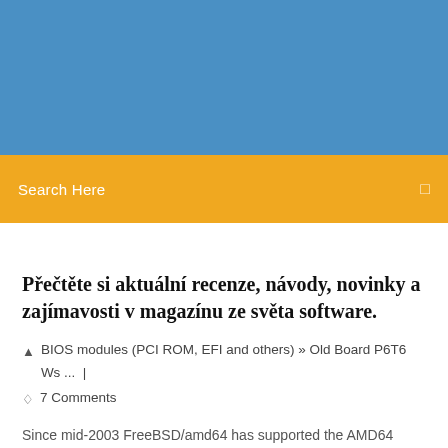[Figure (other): Blue header banner / website header background]
Search Here
Přečtěte si aktuální recenze, návody, novinky a zajímavosti v magazínu ze světa software.
BIOS modules (PCI ROM, EFI and others) » Old Board P6T6 Ws ... | 7 Comments
Since mid-2003 FreeBSD/amd64 has supported the AMD64